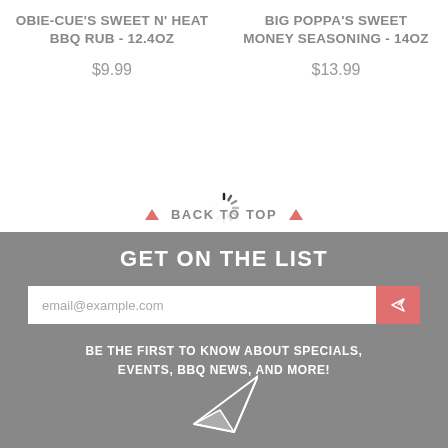OBIE-CUE'S SWEET N' HEAT BBQ RUB - 12.4OZ
$9.99
BIG POPPA'S SWEET MONEY SEASONING - 14OZ
$13.99
▲ BACK TO TOP ▲
[Figure (other): Loading spinner animation icon]
GET ON THE LIST
email@example.com
BE THE FIRST TO KNOW ABOUT SPECIALS, EVENTS, BBQ NEWS, AND MORE!
[Figure (illustration): Paper plane / send icon]